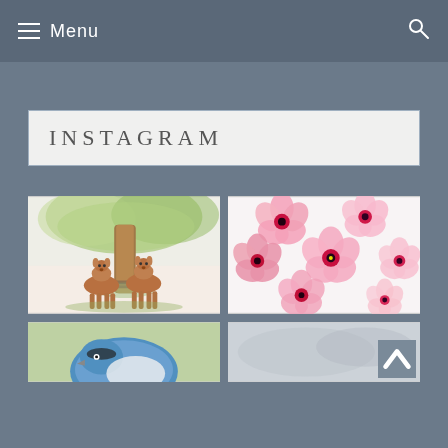Menu
INSTAGRAM
[Figure (illustration): Watercolor illustration of two deer (fawns) standing beneath a large brown tree with green foliage]
[Figure (photo): Close-up photo of pink cherry blossoms or similar flowers on a white background]
[Figure (illustration): Partial view of a watercolor illustration of a blue jay bird on a green background]
[Figure (illustration): Partial view of a light grey/silver abstract or watercolor illustration]